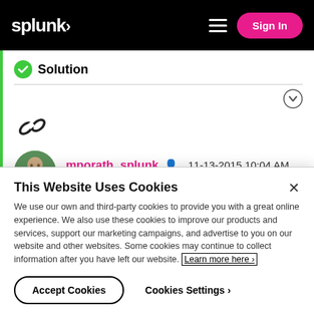splunk> Sign In
Solution
[Figure (illustration): Chain link icon (permalink/share icon)]
mporath_splunk  Splunk Employee  11-13-2015 10:04 AM
This Website Uses Cookies
We use our own and third-party cookies to provide you with a great online experience. We also use these cookies to improve our products and services, support our marketing campaigns, and advertise to you on our website and other websites. Some cookies may continue to collect information after you have left our website. Learn more here ›
Accept Cookies  Cookies Settings ›